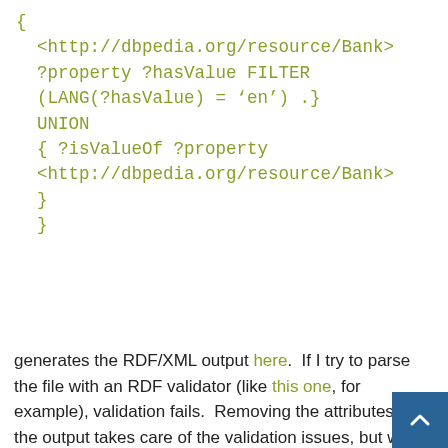generates the RDF/XML output here.  If I try to parse the file with an RDF validator (like this one, for example), validation fails.  Removing the attributes from the output takes care of the validation issues, but what I'm not sure of is why the